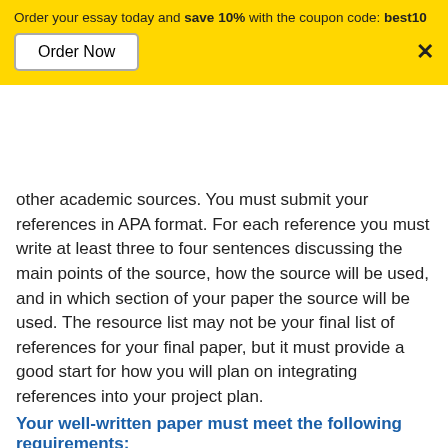Order your essay today and save 10% with the coupon code: best10
Order Now
other academic sources. You must submit your references in APA format. For each reference you must write at least three to four sentences discussing the main points of the source, how the source will be used, and in which section of your paper the source will be used. The resource list may not be your final list of references for your final paper, but it must provide a good start for how you will plan on integrating references into your project plan.
Your well-written paper must meet the following requirements:
2-4 pages in length, not including cover, references page, and appendices. (With your prior work, you will have saved 4-8 pages, but only the current 2-4 pages are required now.) Supporting documents must appear in appendices.
For this assignment, current, scholarly sources are peer-reviewed journal articles published within the most recent